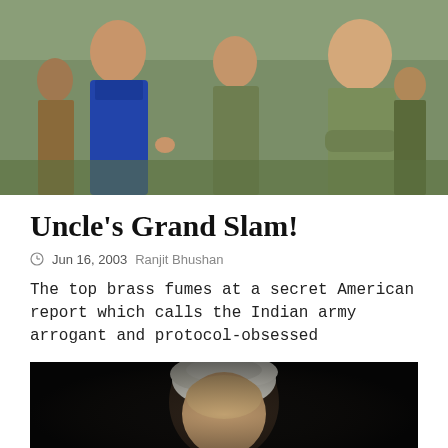[Figure (photo): People in military camouflage uniforms and a woman in blue civilian clothing talking outdoors, with a group of people in the background.]
Uncle's Grand Slam!
Jun 16, 2003   Ranjit Bhushan
The top brass fumes at a secret American report which calls the Indian army arrogant and protocol-obsessed
[Figure (photo): Close-up portrait of a man with grey-white hair against a dark background.]